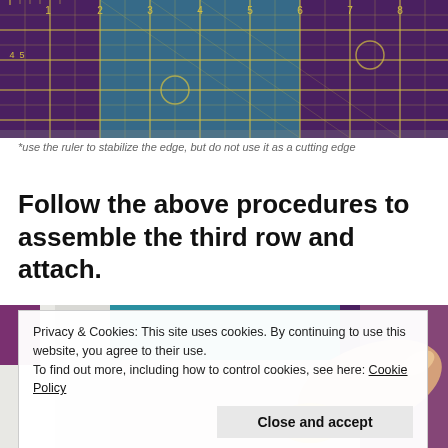[Figure (photo): A sewing ruler with measurement grid lines on fabric, showing a quilting cutting mat with purple and teal fabric underneath, yellow grid ruler overlay]
*use the ruler to stabilize the edge, but do not use it as a cutting edge
Follow the above procedures to assemble the third row and attach.
[Figure (photo): A hand holding a yellow rotary cutter tool pressing on a quilt made of colorful fabric patches in purple, teal, white, and pink colors]
Privacy & Cookies: This site uses cookies. By continuing to use this website, you agree to their use.
To find out more, including how to control cookies, see here: Cookie Policy
Close and accept